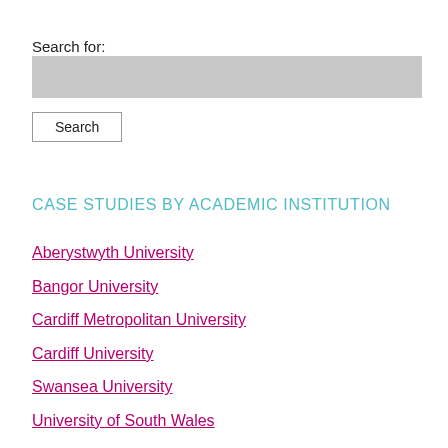Search for:
Search
CASE STUDIES BY ACADEMIC INSTITUTION
Aberystwyth University
Bangor University
Cardiff Metropolitan University
Cardiff University
Swansea University
University of South Wales